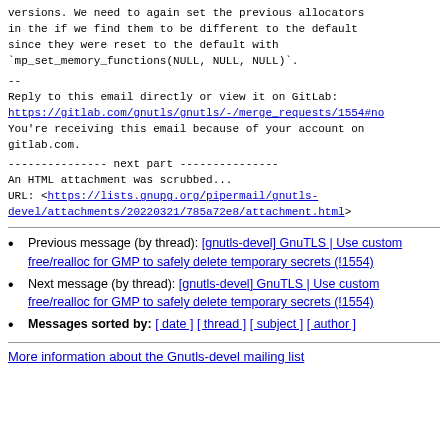versions. We need to again set the previous allocators
in the if we find them to be different to the default
since they were reset to the default with
`mp_set_memory_functions(NULL, NULL, NULL)`.
--
Reply to this email directly or view it on GitLab:
https://gitlab.com/gnutls/gnutls/-/merge_requests/1554#no
You're receiving this email because of your account on
gitlab.com.
--------------- next part ---------------
An HTML attachment was scrubbed...
URL: <https://lists.gnupg.org/pipermail/gnutls-devel/attachments/20220321/785a72e8/attachment.html>
Previous message (by thread): [gnutls-devel] GnuTLS | Use custom free/realloc for GMP to safely delete temporary secrets (!1554)
Next message (by thread): [gnutls-devel] GnuTLS | Use custom free/realloc for GMP to safely delete temporary secrets (!1554)
Messages sorted by: [ date ] [ thread ] [ subject ] [ author ]
More information about the Gnutls-devel mailing list